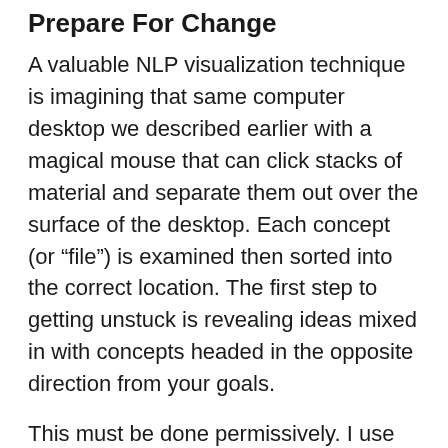Prepare For Change
A valuable NLP visualization technique is imagining that same computer desktop we described earlier with a magical mouse that can click stacks of material and separate them out over the surface of the desktop. Each concept (or “file”) is examined then sorted into the correct location. The first step to getting unstuck is revealing ideas mixed in with concepts headed in the opposite direction from your goals.
This must be done permissively. I use the phrase “Change is Permitted” as part of the preparation for the exercise. This sets the stage for the subconscious allowing change to happen because it is “authoritatively permitted” by an imaginary sanctioning body (in this case an